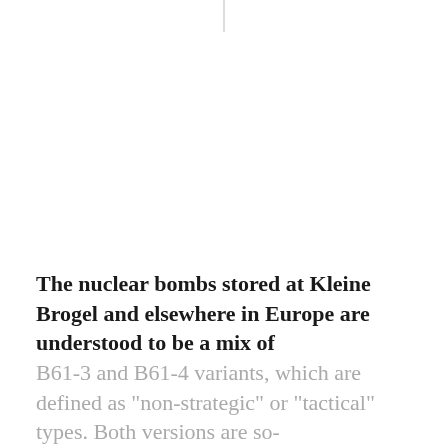The nuclear bombs stored at Kleine Brogel and elsewhere in Europe are understood to be a mix of
B61-3 and B61-4 variants, which are defined as "non-strategic" or "tactical" types. Both versions are so-